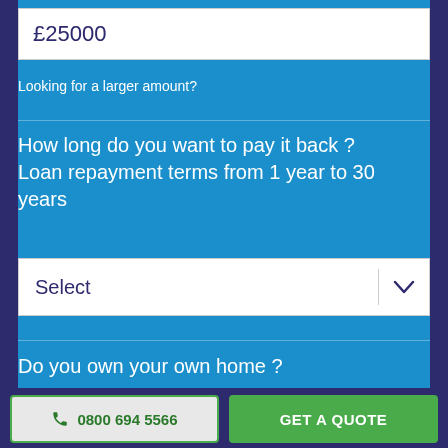£25000
Looking for a larger amount?
How long do you want to pay it back ? Loan repayment terms from 1 year to 30 years
Select
Do you own your own home ?
Yes
No
0800 694 5566
GET A QUOTE